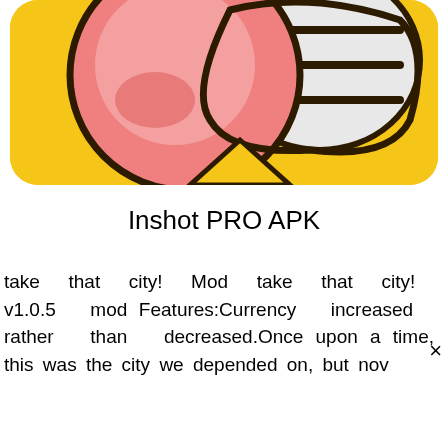[Figure (illustration): App icon with yellow rounded rectangle background. Features a cartoon face/emoji-like illustration with pink cheeks, dark outlines, and white/gray elements resembling a plate or mouth area with horizontal lines, on a bright yellow background.]
Inshot PRO APK
take that city! Mod take that city! v1.0.5 mod Features:Currency increased rather than decreased.Once upon a time, this was the city we depended on, but nov